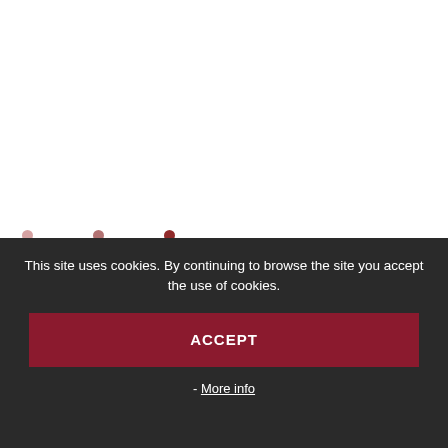[Figure (other): White page area with three small reddish-pink dots arranged horizontally near the lower portion of the upper area, resembling a carousel indicator or loading dots.]
This site uses cookies. By continuing to browse the site you accept the use of cookies.
ACCEPT
- More info